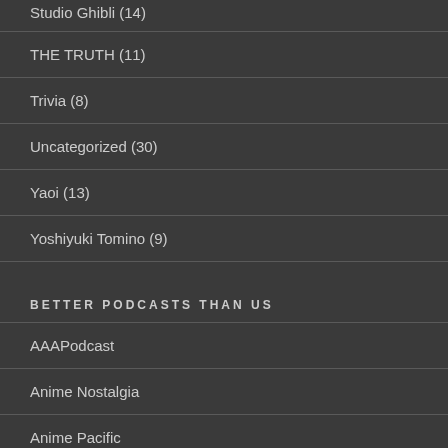Studio Ghibli (14)
THE TRUTH (11)
Trivia (8)
Uncategorized (30)
Yaoi (13)
Yoshiyuki Tomino (9)
BETTER PODCASTS THAN US
AAAPodcast
Anime Nostalgia
Anime Pacific
Anime Pulse